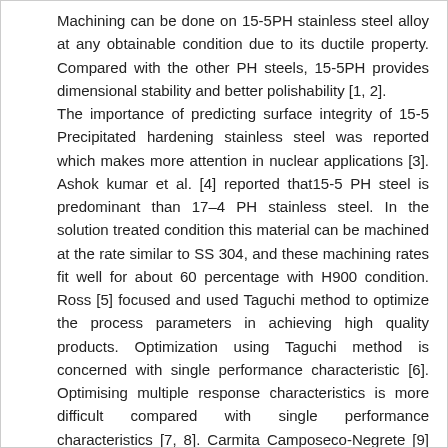Machining can be done on 15-5PH stainless steel alloy at any obtainable condition due to its ductile property. Compared with the other PH steels, 15-5PH provides dimensional stability and better polishability [1, 2]. The importance of predicting surface integrity of 15-5 Precipitated hardening stainless steel was reported which makes more attention in nuclear applications [3]. Ashok kumar et al. [4] reported that15-5 PH steel is predominant than 17–4 PH stainless steel. In the solution treated condition this material can be machined at the rate similar to SS 304, and these machining rates fit well for about 60 percentage with H900 condition. Ross [5] focused and used Taguchi method to optimize the process parameters in achieving high quality products. Optimization using Taguchi method is concerned with single performance characteristic [6]. Optimising multiple response characteristics is more difficult compared with single performance characteristics [7, 8]. Carmita Camposeco-Negrete [9] made an attempt to optimize turning